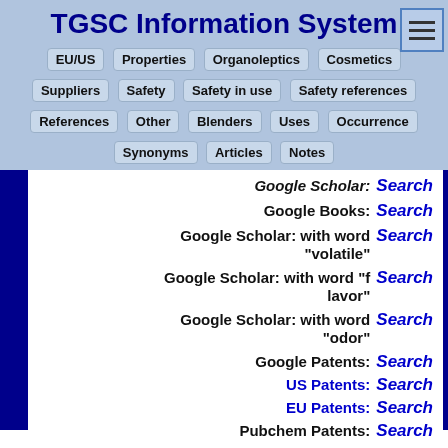TGSC Information System
EU/US | Properties | Organoleptics | Cosmetics
Suppliers | Safety | Safety in use | Safety references
References | Other | Blenders | Uses | Occurrence
Synonyms | Articles | Notes
Google Scholar: Search
Google Books: Search
Google Scholar: with word "volatile" Search
Google Scholar: with word "f lavor" Search
Google Scholar: with word "odor" Search
Google Patents: Search
US Patents: Search
EU Patents: Search
Pubchem Patents: Search